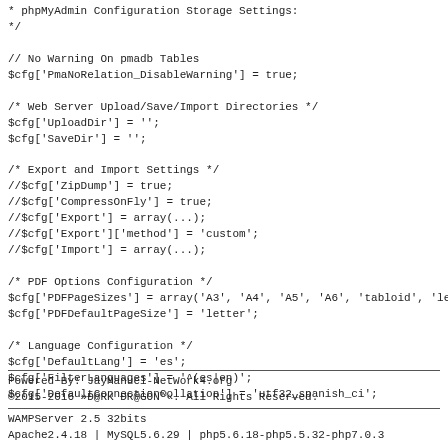* phpMyAdmin Configuration Storage Settings:
*/

// No Warning On pmadb Tables
$cfg['PmaNoRelation_DisableWarning'] = true;

/* Web Server Upload/Save/Import Directories */
$cfg['UploadDir'] = '';
$cfg['SaveDir'] = '';

/* Export and Import Settings */
//$cfg['ZipDump'] = true;
//$cfg['CompressOnFly'] = true;
//$cfg['Export'] = array(...);
//$cfg['Export']['method'] = 'custom';
//$cfg['Import'] = array(...);

/* PDF Options Configuration */
$cfg['PDFPageSizes'] = array('A3', 'A4', 'A5', 'A6', 'tabloid', 'letter', 'lettersmall', 'lega
$cfg['PDFDefaultPageSize'] = 'letter';

/* Language Configuration */
$cfg['DefaultLang'] = 'es';
$cfg['FilterLanguages'] = '^(es|en)';
$cfg['DefaultConnectionCollation'] = 'utf32_spanish_ci';
Powered By: JayManuel-NetWork4.org
©2015-2016 »Đ@RK ĐR@GÖN™«. All Rights Reserved.

WAMPServer 2.5 32bits
Apache2.4.18 | MySQL5.6.29 | php5.6.18-php5.5.32-php7.0.3